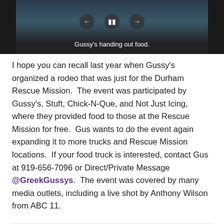[Figure (screenshot): Video player showing a food distribution scene with playback controls (back, pause, forward) and caption 'Gussy's handing out food.' on a dark background.]
I hope you can recall last year when Gussy's organized a rodeo that was just for the Durham Rescue Mission.  The event was participated by Gussy's, Stuft, Chick-N-Que, and Not Just Icing, where they provided food to those at the Rescue Mission for free.  Gus wants to do the event again expanding it to more trucks and Rescue Mission locations.  If your food truck is interested, contact Gus at 919-656-7096 or Direct/Private Message @GreekGussys.  The event was covered by many media outlets, including a live shot by Anthony Wilson from ABC 11.